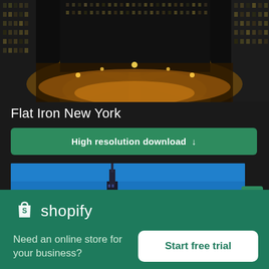[Figure (photo): Aerial night view of a city intersection in New York, showing illuminated streets and skyscrapers]
Flat Iron New York
High resolution download ↓
[Figure (photo): Blue sky with a tall skyscraper (Flat Iron building or Freedom Tower) visible against a bright blue sky with white clouds]
[Figure (logo): Shopify logo - white shopping bag icon with 'shopify' text in white]
Need an online store for your business?
Start free trial